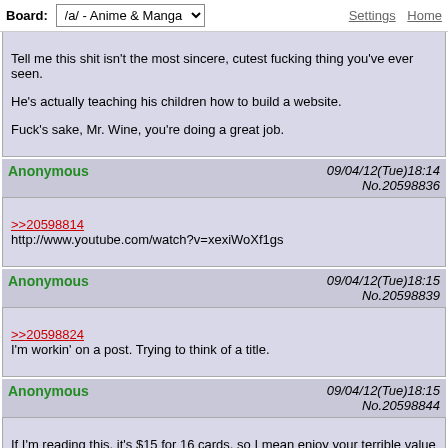Board: /a/ - Anime & Manga   Settings  Home
Tell me this shit isn't the most sincere, cutest fucking thing you've ever seen.

He's actually teaching his children how to build a website.

Fuck's sake, Mr. Wine, you're doing a great job.
Anonymous   09/04/12(Tue)18:14  No.20598836
>>20598814
http://www.youtube.com/watch?v=xexiWoXf1gs
Anonymous   09/04/12(Tue)18:15  No.20598839
>>20598824
I'm workin' on a post. Trying to think of a title.
Anonymous   09/04/12(Tue)18:15  No.20598844
If I'm reading this, it's $15 for 16 cards, so I mean enjoy your terrible value for money. At least the kid will be happy.